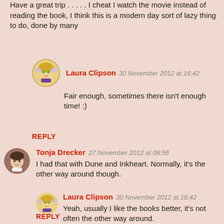Have a great trip . . . . . I cheat I watch the movie instead of reading the book, I think this is a modern day sort of lazy thing to do, done by many
Laura Clipson  30 November 2012 at 16:42
Fair enough, sometimes there isn't enough time! :)
REPLY
Tonja Drecker  27 November 2012 at 08:56
I had that with Dune and Inkheart. Normally, it's the other way around though.
Laura Clipson  30 November 2012 at 16:42
Yeah, usually I like the books better, it's not often the other way around.
REPLY